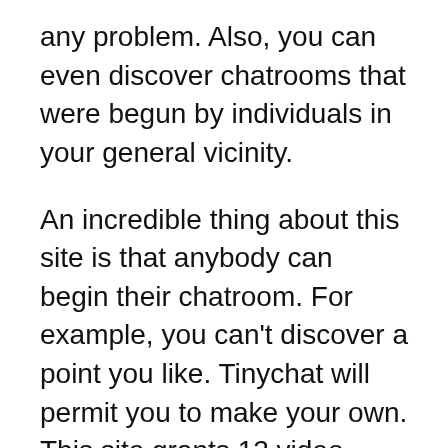any problem. Also, you can even discover chatrooms that were begun by individuals in your general vicinity.
An incredible thing about this site is that anybody can begin their chatroom. For example, you can't discover a point you like. Tinychat will permit you to make your own. This site grants 12 video takes care of per room. The clients can stream live videos of shows that are facilitated on the administration uninhibitedly because the site utilizes an API. There are various approaches to impart; you can pick between video, sound, and instant messages. That is why Tinychat is one of